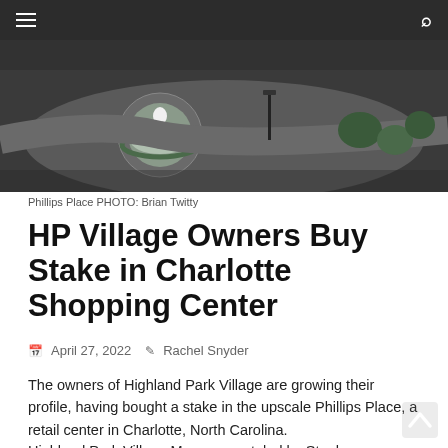[Figure (photo): Aerial view of Phillips Place shopping center showing a circular fountain with white statue in landscaped surrounds, roads and greenery visible]
Phillips Place PHOTO: Brian Twitty
HP Village Owners Buy Stake in Charlotte Shopping Center
April 27, 2022   Rachel Snyder
The owners of Highland Park Village are growing their profile, having bought a stake in the upscale Phillips Place, a retail center in Charlotte, North Carolina.
Highland Park Village Management, led by Stephen Summers and Ray Washburne, has been for the...